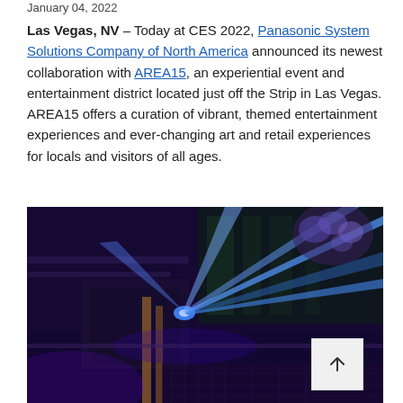January 04, 2022
Las Vegas, NV – Today at CES 2022, Panasonic System Solutions Company of North America announced its newest collaboration with AREA15, an experiential event and entertainment district located just off the Strip in Las Vegas. AREA15 offers a curation of vibrant, themed entertainment experiences and ever-changing art and retail experiences for locals and visitors of all ages.
[Figure (photo): Dark photo of a laser light show at AREA15 entertainment venue in Las Vegas, showing blue laser beams shooting across the scene with purple ambient lighting, industrial-style decor and floral arrangements visible.]